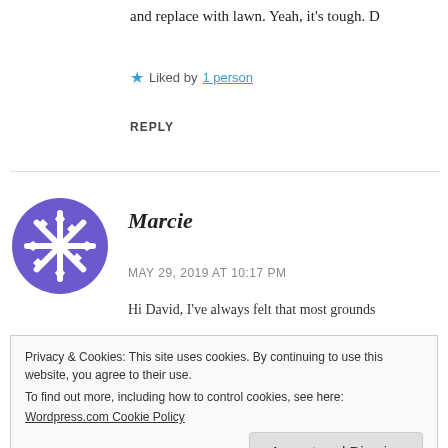and replace with lawn. Yeah, it's tough. D
★ Liked by 1 person
REPLY
[Figure (illustration): Purple snowflake-style avatar icon for user Marcie]
Marcie
MAY 29, 2019 AT 10:17 PM
Hi David, I've always felt that most grounds
Privacy & Cookies: This site uses cookies. By continuing to use this website, you agree to their use.
To find out more, including how to control cookies, see here:
Wordpress.com Cookie Policy
Accept and Dismiss
I'm not sure, whether you should keep looking